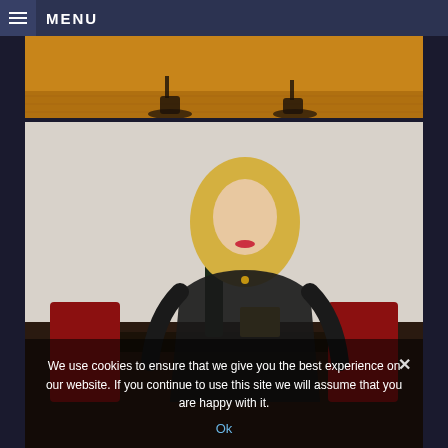≡ MENU
[Figure (photo): Cropped photo showing feet/shoes on a wooden floor with orange/warm background]
[Figure (photo): Woman with blonde hair sitting at a table with red chairs, champagne bottle, wearing black lingerie]
We use cookies to ensure that we give you the best experience on our website. If you continue to use this site we will assume that you are happy with it.
Ok